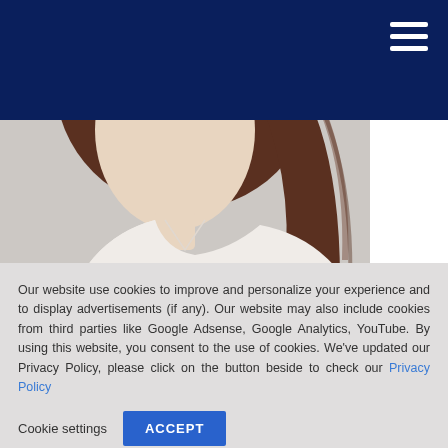[Figure (photo): Photo of a woman with long brown curly hair wearing a white blouse, shown from shoulders up against a light background]
Biography
Our website use cookies to improve and personalize your experience and to display advertisements (if any). Our website may also include cookies from third parties like Google Adsense, Google Analytics, YouTube. By using this website, you consent to the use of cookies. We've updated our Privacy Policy, please click on the button beside to check our Privacy Policy